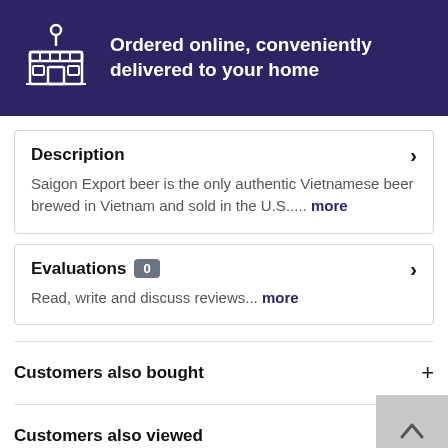[Figure (illustration): Dark navy banner with a store/shop icon (building with location pin) on the left and bold white text on the right reading: Ordered online, conveniently delivered to your home]
Description
Saigon Export beer is the only authentic Vietnamese beer brewed in Vietnam and sold in the U.S..... more
Evaluations 0
Read, write and discuss reviews... more
Customers also bought
Customers also viewed